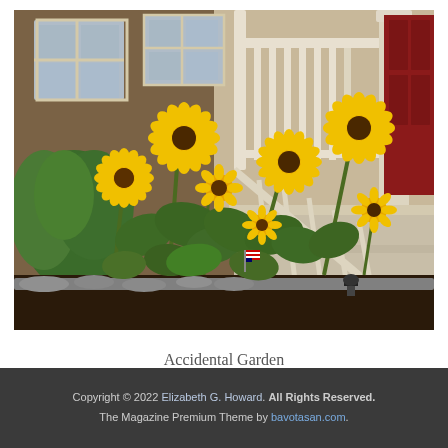[Figure (photo): Photograph of sunflowers growing in a garden bed in front of a house porch with white railings and a red door. Multiple yellow sunflowers of varying sizes are visible among large green leaves. Stone edging lines the garden bed.]
Accidental Garden
Copyright © 2022 Elizabeth G. Howard. All Rights Reserved. The Magazine Premium Theme by bavotasan.com.